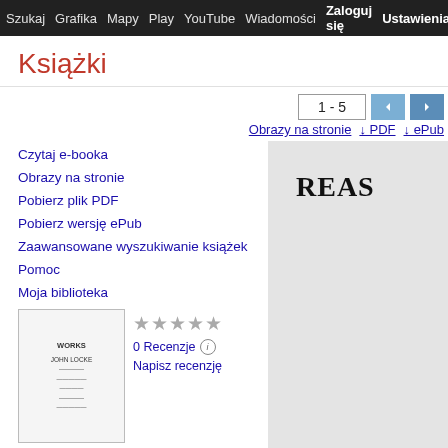Szukaj  Grafika  Mapy  Play  YouTube  Wiadomości  Zaloguj się  Ustawienia (gear)
Książki
1 - 5
Obrazy na stronie  ↓ PDF  ↓ ePub
Czytaj e-booka
Obrazy na stronie
Pobierz plik PDF
Pobierz wersję ePub
Zaawansowane wyszukiwanie książek
Pomoc
Moja biblioteka
[Figure (illustration): Book cover thumbnail for The works of John Locke]
★★★★★  0 Recenzje ⓘ  Napisz recenzję
The works of John Locke. To which is added the life of the author and ...,
[Figure (screenshot): Book page preview showing partial text REAS...]